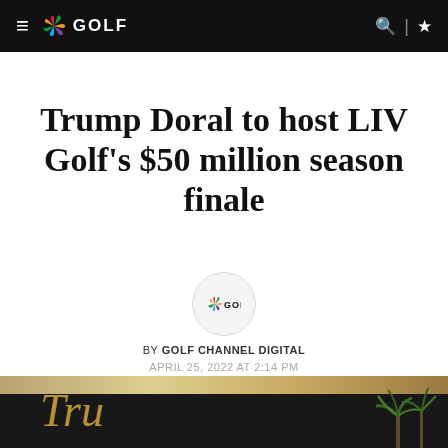NBC GOLF
Trump Doral to host LIV Golf's $50 million season finale
[Figure (logo): NBC Golf circular logo]
BY GOLF CHANNEL DIGITAL
APRIL 25, 2022 AT 2:14 PM
[Figure (photo): Trump Doral sign with gold lettering and palm trees in background]